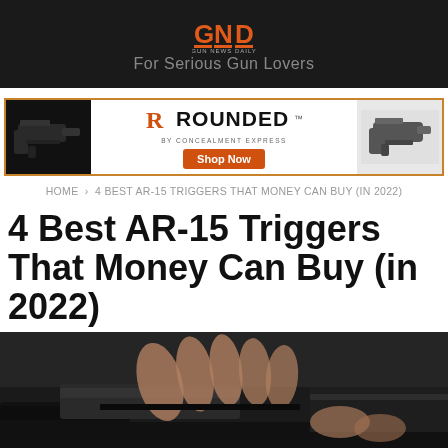GUN NEWS DAILY — For Serious Gun Lovers
[Figure (advertisement): Rounded by Concealment Express ad banner with holsters on left and right, orange 'Shop Now' button in center]
HOME › 4 BEST AR-15 TRIGGERS THAT MONEY CAN BUY (IN 2022)
4 Best AR-15 Triggers That Money Can Buy (in 2022)
[Figure (photo): Close-up photo of hands holding/operating an AR-15 firearm, dark tones]